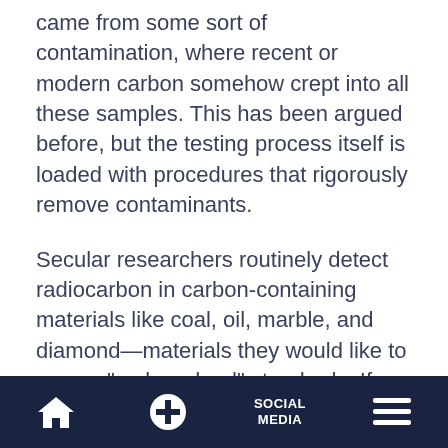came from some sort of contamination, where recent or modern carbon somehow crept into all these samples. This has been argued before, but the testing process itself is loaded with procedures that rigorously remove contaminants.
Secular researchers routinely detect radiocarbon in carbon-containing materials like coal, oil, marble, and diamond—materials they would like to use as "carbon dead" standards. If contamination is really to blame for these results, then why does it
SOCIAL MEDIA